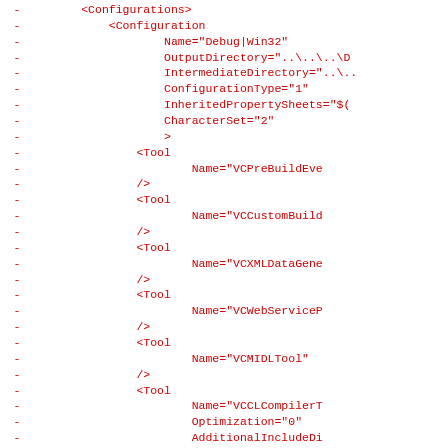- <Configurations>
- <Configuration
- Name="Debug|Win32"
- OutputDirectory="..\..\..\D
- IntermediateDirectory="..\
- ConfigurationType="1"
- InheritedPropertySheets="$(
- CharacterSet="2"
- >
- <Tool
- Name="VCPreBuildEve
- />
- <Tool
- Name="VCCustomBuild
- />
- <Tool
- Name="VCXMLDataGene
- />
- <Tool
- Name="VCWebServiceP
- />
- <Tool
- Name="VCMIDLTool"
- />
- <Tool
- Name="VCCLCompilerT
- Optimization="0"
- AdditionalIncludeDi
- PreprocessorDefinit
- MinimalRebuild="tru
- BasicRuntimeCh...